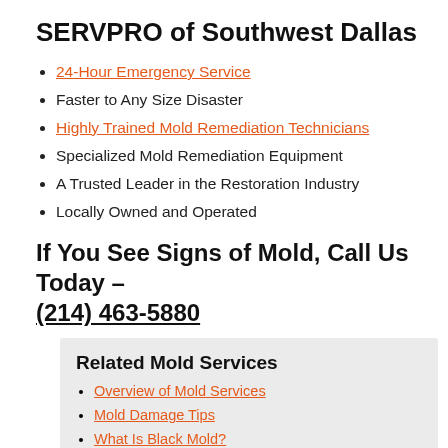SERVPRO of Southwest Dallas
24-Hour Emergency Service
Faster to Any Size Disaster
Highly Trained Mold Remediation Technicians
Specialized Mold Remediation Equipment
A Trusted Leader in the Restoration Industry
Locally Owned and Operated
If You See Signs of Mold, Call Us Today – (214) 463-5880
Related Mold Services
Overview of Mold Services
Mold Damage Tips
What Is Black Mold?
Mold "Removal" vs Remediation
Caring For Your Belongings
Mold Restoration Process
Odor Removal
Building Services